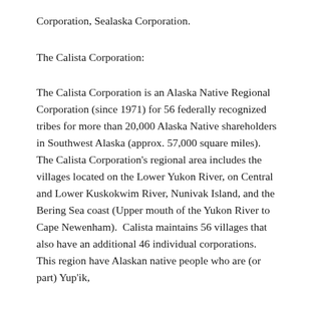Corporation, Sealaska Corporation.
The Calista Corporation:
The Calista Corporation is an Alaska Native Regional Corporation (since 1971) for 56 federally recognized tribes for more than 20,000 Alaska Native shareholders in Southwest Alaska (approx. 57,000 square miles).  The Calista Corporation's regional area includes the villages located on the Lower Yukon River, on Central and Lower Kuskokwim River, Nunivak Island, and the Bering Sea coast (Upper mouth of the Yukon River to Cape Newenham).  Calista maintains 56 villages that also have an additional 46 individual corporations. This region have Alaskan native people who are (or part) Yup'ik,